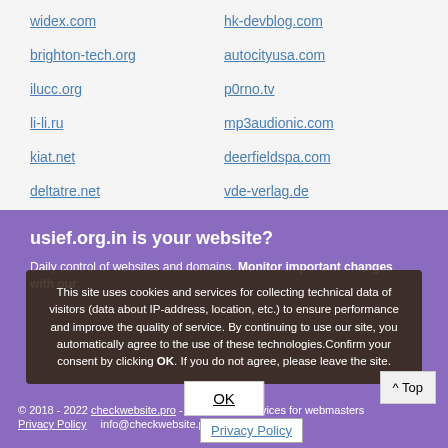widex.com
hk-devblog.com
brighton-tech.org
autocityusa.com
ilucc.org
p0rno.tv
li-li.ru
mp3audionic.com
kiat.net
deerfieldspa.com
deltatre.net
vde-verlag.de
sedona.net
coldclimategardening.com
usief.org.in is your website?
Daily control of websites and domains. Monitor important changes with our...
This site uses cookies and services for collecting technical data of visitors (data about IP-address, location, etc.) to ensure performance and improve the quality of service. By continuing to use our site, you automatically agree to the use of these technologies.Confirm your consent by clicking OK. If you do not agree, please leave the site.
© 2018 - 2022 checkwebsite.pro - Crawl services for webmasters
Privacy Policy  info@checkwebsite.pro